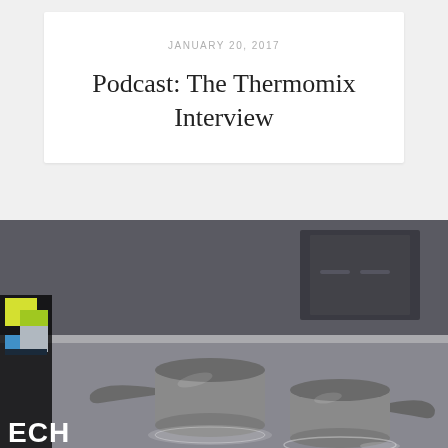JANUARY 20, 2017
Podcast: The Thermomix Interview
[Figure (photo): Photo of two stainless steel pots on an induction cooktop in a modern kitchen, with a partial logo overlay on the left side showing yellow/green squares and the partial text 'ECH' at the bottom left.]